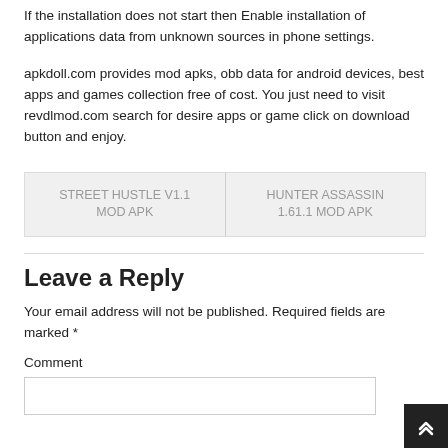If the installation does not start then Enable installation of applications data from unknown sources in phone settings.
apkdoll.com provides mod apks, obb data for android devices, best apps and games collection free of cost. You just need to visit revdlmod.com search for desire apps or game click on download button and enjoy.
STREET HUSTLE V1.1 MOD APK | HUNTER ASSASSIN 1.61.1 MOD APK
Leave a Reply
Your email address will not be published. Required fields are marked *
Comment